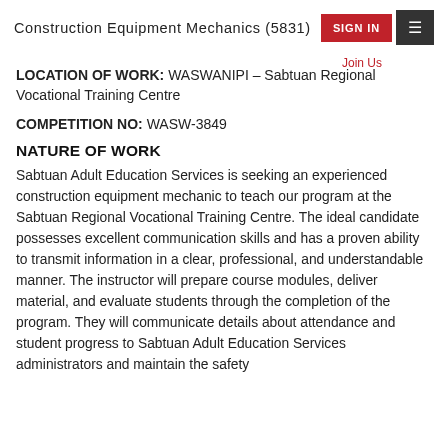Construction Equipment Mechanics (5831)
LOCATION OF WORK: WASWANIPI – Sabtuan Regional Vocational Training Centre
COMPETITION NO: WASW-3849
NATURE OF WORK
Sabtuan Adult Education Services is seeking an experienced construction equipment mechanic to teach our program at the Sabtuan Regional Vocational Training Centre. The ideal candidate possesses excellent communication skills and has a proven ability to transmit information in a clear, professional, and understandable manner. The instructor will prepare course modules, deliver material, and evaluate students through the completion of the program. They will communicate details about attendance and student progress to Sabtuan Adult Education Services administrators and maintain the safety